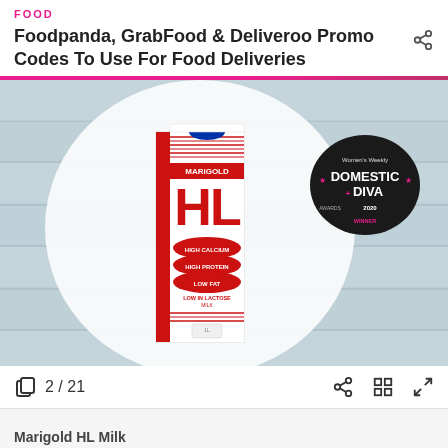FOOD
Foodpanda, GrabFood & Deliveroo Promo Codes To Use For Food Deliveries
[Figure (photo): Marigold HL Milk carton product photo with Women's Weekly Domestic Diva Awards 2020 badge, displayed on a wooden background with a large white circle overlay]
Marigold HL Milk